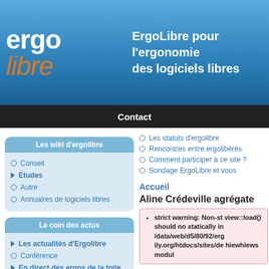[Figure (logo): ErgoLibre website header with logo and title text]
ErgoLibre pour l'ergonom des logiciels libres
Contact
Les wiki d'ergolibre
Conseil
Etudes
Autre
Annuaires de logiciels libres
Les statuts d'ergolibre
Rencontres entre ergolibérés
Comment participer à ce site ?
Sondage ErgoLibre et vous
Le coin des actus
Les actualités d'Ergolibre
Conférence
En direct des ergos de la toile
Accueil
Aline Crédeville agrégate
strict warning: Non-st view::load() should no statically in /data/web/d5/80/92/erg ily.org/htdocs/sites/de hiewhiews modul